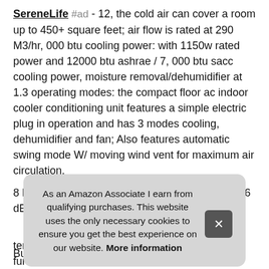SereneLife #ad - 12, the cold air can cover a room up to 450+ square feet; air flow is rated at 290 M3/hr, 000 btu cooling power: with 1150w rated power and 12000 btu ashrae / 7, 000 btu sacc cooling power, moisture removal/dehumidifier at 1.3 operating modes: the compact floor ac indoor cooler conditioning unit features a simple electric plug in operation and has 3 modes cooling, dehumidifier and fan; Also features automatic swing mode W/ moving wind vent for maximum air circulation.
8 liters/hour w/ an operating noise level of only 56 dB.
More information #ad
Built [partial] port [partial] fina [partial] touc [partial]
temperature and fan speed settings; Other functions such as
As an Amazon Associate I earn from qualifying purchases. This website uses the only necessary cookies to ensure you get the best experience on our website. More information